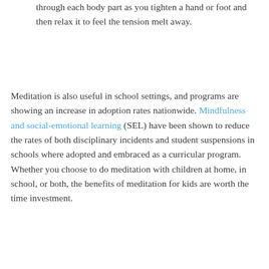through each body part as you tighten a hand or foot and then relax it to feel the tension melt away.
Meditation is also useful in school settings, and programs are showing an increase in adoption rates nationwide. Mindfulness and social-emotional learning (SEL) have been shown to reduce the rates of both disciplinary incidents and student suspensions in schools where adopted and embraced as a curricular program. Whether you choose to do meditation with children at home, in school, or both, the benefits of meditation for kids are worth the time investment.